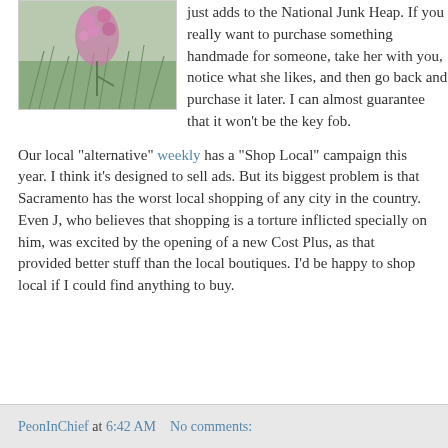[Figure (photo): Photo of pink wildflowers with green grassy background]
just adds to the National Junk Heap. If you really want to purchase something handmade for someone, take her with you, notice what she likes, and then go back and purchase it later. I can almost guarantee that it won't be the key fob.
Our local "alternative" weekly has a "Shop Local" campaign this year. I think it's designed to sell ads. But its biggest problem is that Sacramento has the worst local shopping of any city in the country. Even J, who believes that shopping is a torture inflicted specially on him, was excited by the opening of a new Cost Plus, as that provided better stuff than the local boutiques. I'd be happy to shop local if I could find anything to buy.
PeonInChief at 6:42 AM   No comments: